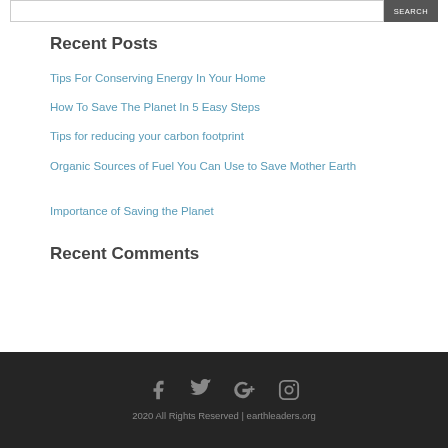Recent Posts
Tips For Conserving Energy In Your Home
How To Save The Planet In 5 Easy Steps
Tips for reducing your carbon footprint
Organic Sources of Fuel You Can Use to Save Mother Earth
Importance of Saving the Planet
Recent Comments
2020 All Rights Reserved | earthleaders.org